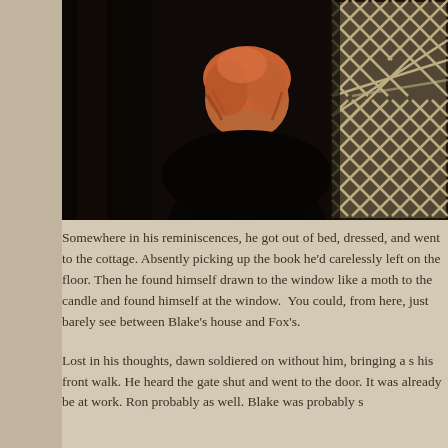[Figure (photo): A person with red/auburn hair seen from behind, wearing a dark black top, standing in a dark room with curtains. A diamond-lattice window is visible on the right side of the image.]
Somewhere in his reminiscences, he got out of bed, dressed, and went to the cottage. Absently picking up the book he'd carelessly left on the floor. Then he found himself drawn to the window like a moth to the candle and found himself at the window.  You could, from here, just barely see between Blake's house and Fox's.
Lost in his thoughts, dawn soldiered on without him, bringing a s... his front walk. He heard the gate shut and went to the door. It was already be at work. Ron probably as well. Blake was probably...